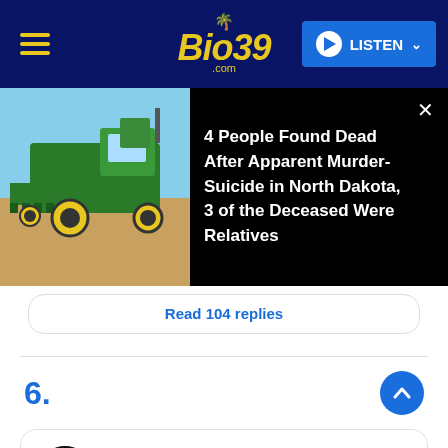Bio39.com — LISTEN
[Figure (screenshot): News overlay showing a green combine harvester in a field with headline: 4 People Found Dead After Apparent Murder-Suicide in North Dakota, 3 of the Deceased Were Relatives]
Read 104 replies
6.
[Figure (screenshot): Tweet from Club Ambition (@_ClubAmbition): KANYE THREW THE MIC SOMEONE GETTING FIRED]
KANYE THREW THE MIC
SOMEONE GETTING FIRED